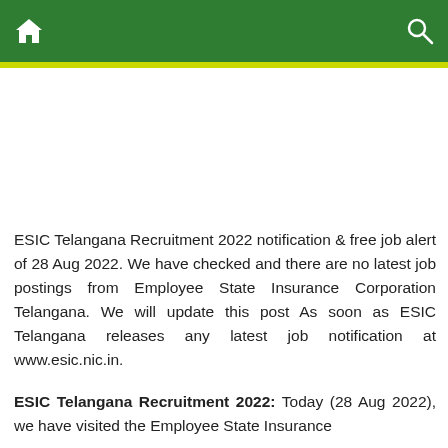Home | Search
[Figure (other): Advertisement/banner placeholder area]
ESIC Telangana Recruitment 2022 notification & free job alert of 28 Aug 2022. We have checked and there are no latest job postings from Employee State Insurance Corporation Telangana. We will update this post As soon as ESIC Telangana releases any latest job notification at www.esic.nic.in.
ESIC Telangana Recruitment 2022: Today (28 Aug 2022), we have visited the Employee State Insurance